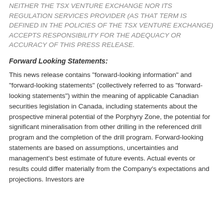NEITHER THE TSX VENTURE EXCHANGE NOR ITS REGULATION SERVICES PROVIDER (AS THAT TERM IS DEFINED IN THE POLICIES OF THE TSX VENTURE EXCHANGE) ACCEPTS RESPONSIBILITY FOR THE ADEQUACY OR ACCURACY OF THIS PRESS RELEASE.
Forward Looking Statements:
This news release contains "forward-looking information" and "forward-looking statements" (collectively referred to as "forward-looking statements") within the meaning of applicable Canadian securities legislation in Canada, including statements about the prospective mineral potential of the Porphyry Zone, the potential for significant mineralisation from other drilling in the referenced drill program and the completion of the drill program. Forward-looking statements are based on assumptions, uncertainties and management's best estimate of future events. Actual events or results could differ materially from the Company's expectations and projections. Investors are